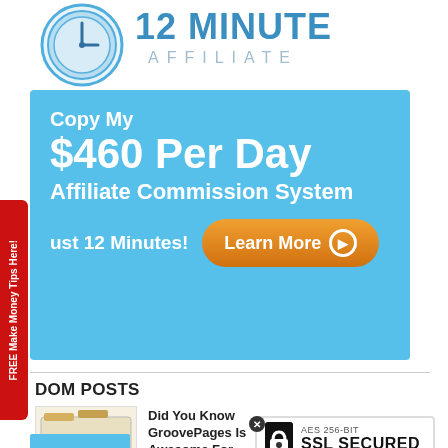[Figure (logo): 12 Minute Affiliate logo with clock icon and text '12 MINUTE AFFILIATE']
[Figure (illustration): Sidebar tab in red with rotated text 'FREE Make Money Tips Here!']
[Figure (illustration): Blue banner ad: 'Copy My $460 Per Day Affiliate Commission System in Just 12 Minutes! Learn More' button in orange]
DOM POSTS
[Figure (illustration): Thumbnail image showing SEO Search Engine Optimization laptop graphic]
Did You Know GroovePages Is Awesome For SEO?
September 11, 2021
[Figure (illustration): AES 256-BIT SSL SECURED badge with padlock icon]